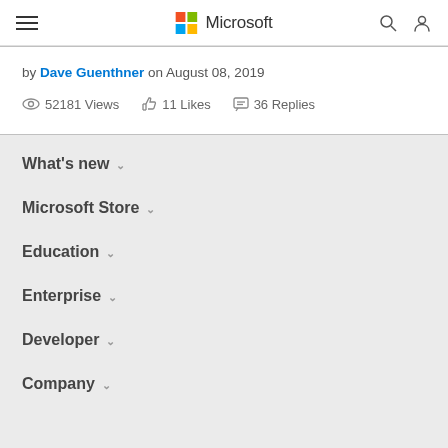Microsoft header navigation bar with hamburger menu, Microsoft logo, search and account icons
by Dave Guenthner on August 08, 2019
52181 Views   11 Likes   36 Replies
What's new
Microsoft Store
Education
Enterprise
Developer
Company